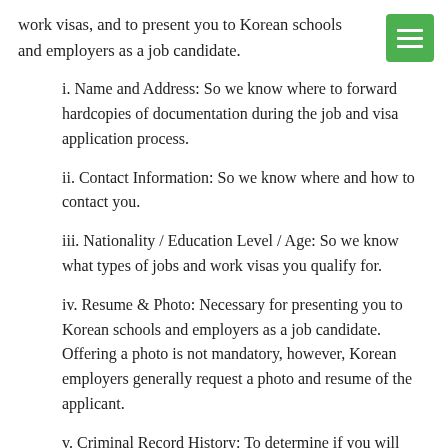work visas, and to present you to Korean schools and employers as a job candidate.
i. Name and Address: So we know where to forward hardcopies of documentation during the job and visa application process.
ii. Contact Information: So we know where and how to contact you.
iii. Nationality / Education Level / Age: So we know what types of jobs and work visas you qualify for.
iv. Resume & Photo: Necessary for presenting you to Korean schools and employers as a job candidate. Offering a photo is not mandatory, however, Korean employers generally request a photo and resume of the applicant.
v. Criminal Record History: To determine if you will qualify for a Korean work visa. Due to strict work visa restrictions with the Korean Immigration office